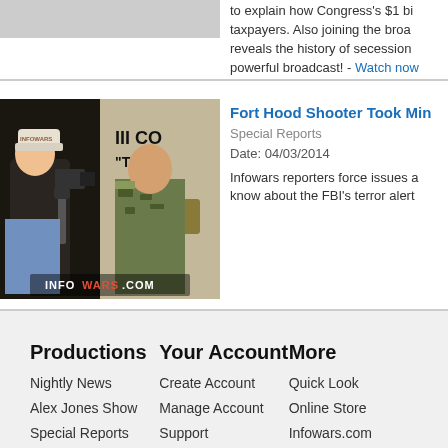to explain how Congress's $1 billion taxpayers. Also joining the broadcast reveals the history of secession powerful broadcast! - Watch now
[Figure (photo): News reporter with camera interviewing a military officer in camouflage uniform in front of a building with text. Infowars.com watermark visible.]
Fort Hood Shooter Took Min
Special Reports
Date: 04/03/2014
Infowars reporters force issues a know about the FBI's terror alert
Productions
Nightly News
Alex Jones Show
Special Reports
Movies
Rants
eBooks
Your Account
Create Account
Manage Account
Support
FAQ
Terms of use
Active Roku
More
Quick Look
Online Store
Infowars.com
Prisonplanet.co